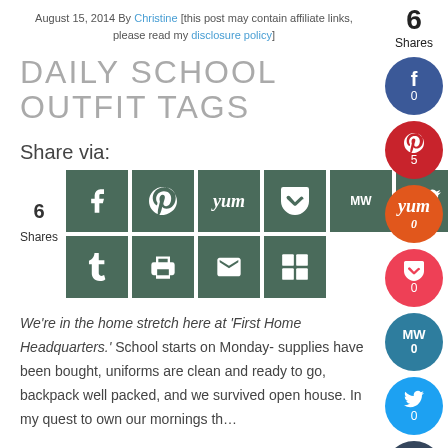August 15, 2014 By Christine [this post may contain affiliate links, please read my disclosure policy]
DAILY SCHOOL OUTFIT TAGS
Share via:
[Figure (infographic): Social share buttons grid: Facebook, Pinterest, Yummly, Pocket, MeWe, Twitter in top row; Tumblr, Print, Email, Copy in bottom row. Left side shows 6 Shares count.]
We're in the home stretch here at 'First Home Headquarters.' School starts on Monday- supplies have been bought, uniforms are clean and ready to go, backpack well packed, and we survived open house. In my quest to own our mornings th…